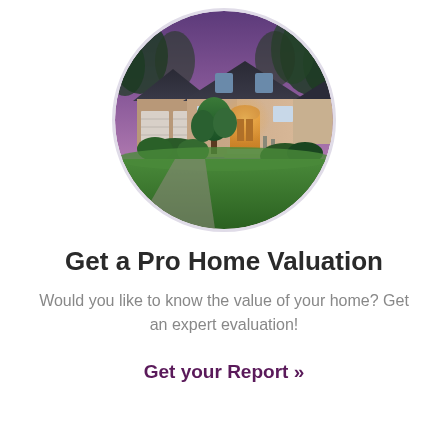[Figure (photo): Circular cropped photo of a large suburban house with two-car garage, stone facade, arched front door with warm lighting, surrounded by green lawn and trees, evening/dusk sky with purple-pink hues.]
Get a Pro Home Valuation
Would you like to know the value of your home? Get an expert evaluation!
Get your Report »